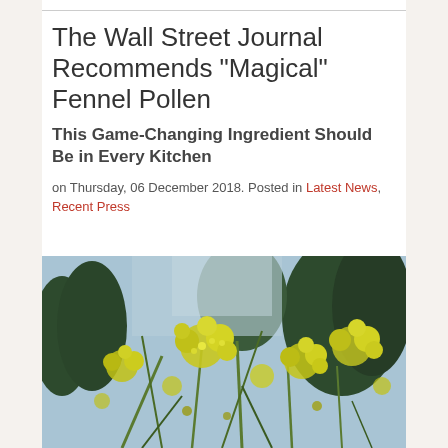The Wall Street Journal Recommends "Magical" Fennel Pollen
This Game-Changing Ingredient Should Be in Every Kitchen
on Thursday, 06 December 2018. Posted in Latest News, Recent Press
[Figure (photo): Close-up photograph of fennel plant in bloom with yellow flower clusters (umbels) against a background of trees and blue sky]